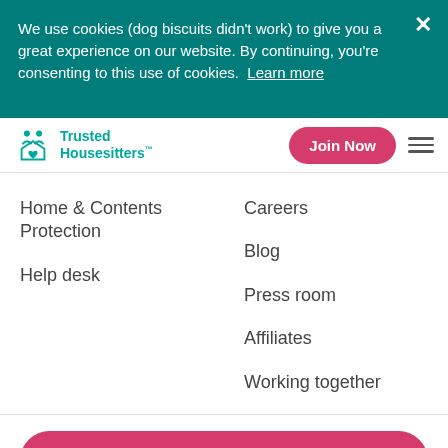We use cookies (dog biscuits didn't work) to give you a great experience on our website. By continuing, you're consenting to this use of cookies. Learn more
[Figure (logo): Trusted Housesitters logo with icon]
Home & Contents Protection
Help desk
Careers
Blog
Press room
Affiliates
Working together
Join now to post dates